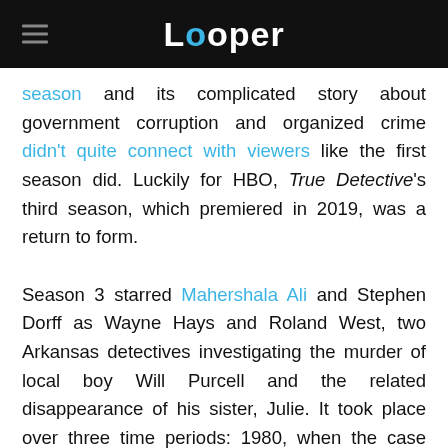Looper
season and its complicated story about government corruption and organized crime didn't quite connect with viewers like the first season did. Luckily for HBO, True Detective's third season, which premiered in 2019, was a return to form.

Season 3 starred Mahershala Ali and Stephen Dorff as Wayne Hays and Roland West, two Arkansas detectives investigating the murder of local boy Will Purcell and the related disappearance of his sister, Julie. It took place over three time periods: 1980, when the case began; 1990, when the case was reopened; and 2015, when an elderly Wayne and